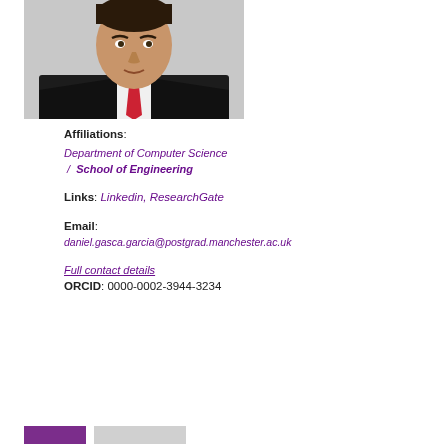[Figure (photo): Professional headshot of a man in a dark suit with red tie]
Affiliations: Department of Computer Science / School of Engineering
Links: Linkedin, ResearchGate
Email: daniel.gasca.garcia@postgrad.manchester.ac.uk
Full contact details
ORCID: 0000-0002-3944-3234